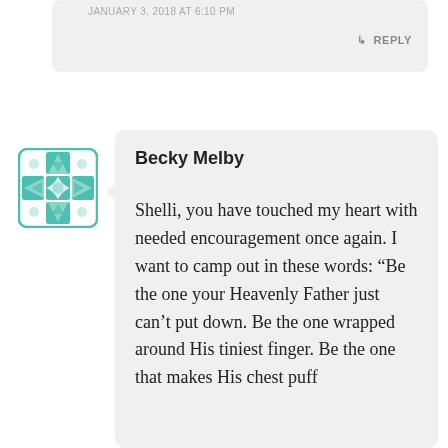JANUARY 3, 2018 AT 6:10 PM
↳ REPLY
[Figure (logo): Teal decorative quilt-pattern cross/floral geometric avatar icon]
Becky Melby
Shelli, you have touched my heart with needed encouragement once again. I want to camp out in these words: “Be the one your Heavenly Father just can't put down. Be the one wrapped around His tiniest finger. Be the one that makes His chest puff